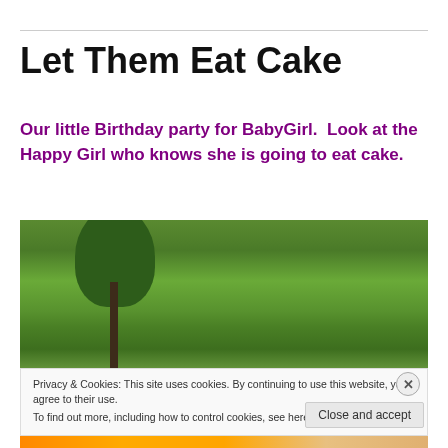Let Them Eat Cake
Our little Birthday party for BabyGirl.  Look at the Happy Girl who knows she is going to eat cake.
[Figure (photo): Outdoor photo of a grassy field with a small tree/sapling in the foreground, green lawn with small yellow flowers in the background]
Privacy & Cookies: This site uses cookies. By continuing to use this website, you agree to their use.
To find out more, including how to control cookies, see here: Cookie Policy